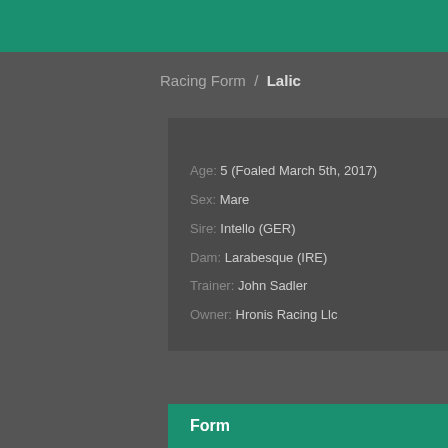Racing Form / Lalic
Lalic (FR)
Age: 5 (Foaled March 5th, 2017)
Sex: Mare
Sire: Intello (GER)
Dam: Larabesque (IRE)
Trainer: John Sadler
Owner: Hronis Racing Llc
Form